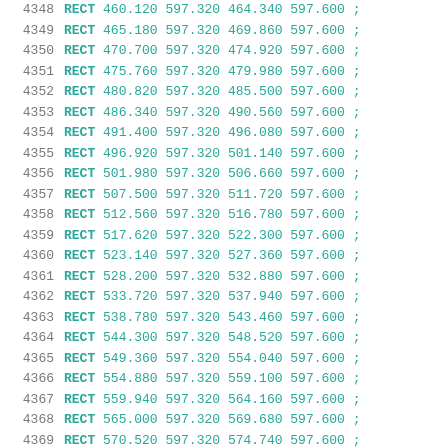4348  RECT 460.120 597.320 464.340 597.600 ;
4349  RECT 465.180 597.320 469.860 597.600 ;
4350  RECT 470.700 597.320 474.920 597.600 ;
4351  RECT 475.760 597.320 479.980 597.600 ;
4352  RECT 480.820 597.320 485.500 597.600 ;
4353  RECT 486.340 597.320 490.560 597.600 ;
4354  RECT 491.400 597.320 496.080 597.600 ;
4355  RECT 496.920 597.320 501.140 597.600 ;
4356  RECT 501.980 597.320 506.660 597.600 ;
4357  RECT 507.500 597.320 511.720 597.600 ;
4358  RECT 512.560 597.320 516.780 597.600 ;
4359  RECT 517.620 597.320 522.300 597.600 ;
4360  RECT 523.140 597.320 527.360 597.600 ;
4361  RECT 528.200 597.320 532.880 597.600 ;
4362  RECT 533.720 597.320 537.940 597.600 ;
4363  RECT 538.780 597.320 543.460 597.600 ;
4364  RECT 544.300 597.320 548.520 597.600 ;
4365  RECT 549.360 597.320 554.040 597.600 ;
4366  RECT 554.880 597.320 559.100 597.600 ;
4367  RECT 559.940 597.320 564.160 597.600 ;
4368  RECT 565.000 597.320 569.680 597.600 ;
4369  RECT 570.520 597.320 574.740 597.600 ;